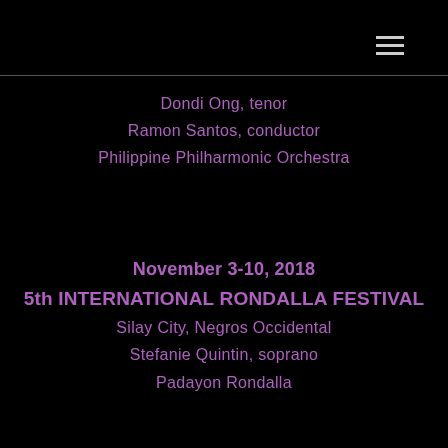≡
Dondi Ong, tenor
Ramon Santos, conductor
Philippine Philharmonic Orchestra
November 3-10, 2018
5th INTERNATIONAL RONDALLA FESTIVAL
Silay City, Negros Occidental
Stefanie Quintin, soprano
Padayon Rondalla